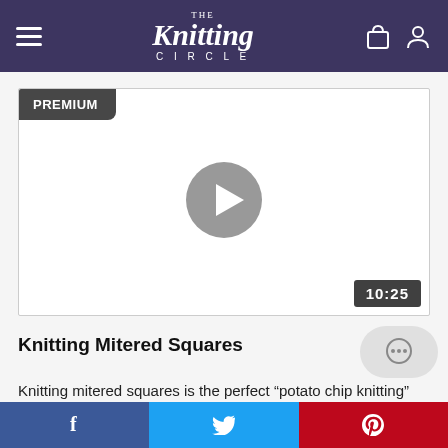The Knitting Circle
[Figure (screenshot): Video player with PREMIUM badge in top-left, gray play button in center, and duration badge '10:25' in bottom-right. White background video thumbnail.]
Knitting Mitered Squares
Knitting mitered squares is the perfect “potato chip knitting”
[Figure (other): Chat/comment bubble icon button, light gray rounded pill shape]
Facebook | Twitter | Pinterest social share buttons